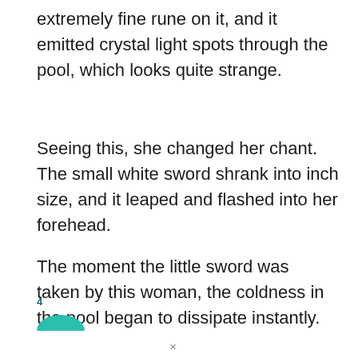extremely fine rune on it, and it emitted crystal light spots through the pool, which looks quite strange.
Seeing this, she changed her chant. The small white sword shrank into inch size, and it leaped and flashed into her forehead.
The moment the little sword was taken by this woman, the coldness in the pool began to dissipate instantly.
4